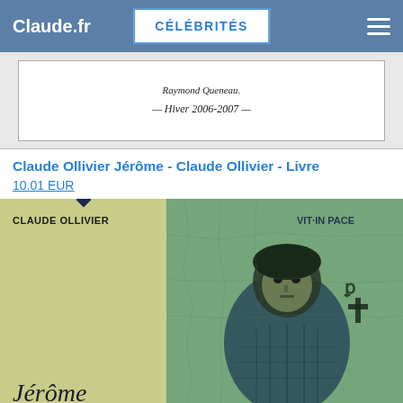Claude.fr  CÉLÉBRITÉS
[Figure (photo): Scanned document snippet showing text 'Raymond Queneau.' and '— Hiver 2006-2007 —']
Claude Ollivier Jérôme - Claude Ollivier - Livre
10.01 EUR
[Figure (photo): Book cover of 'Jérôme' by Claude Ollivier, showing author name at top left on olive/yellow background, italic title 'Jérôme' at bottom left, and right half shows a Byzantine-style mosaic of a figure with text 'IT·IN PACE' and a cross symbol.]